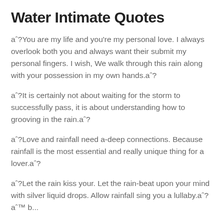Water Intimate Quotes
aˆ?You are my life and you're my personal love. I always overlook both you and always want their submit my personal fingers. I wish, We walk through this rain along with your possession in my own hands.aˆ?
aˆ?It is certainly not about waiting for the storm to successfully pass, it is about understanding how to grooving in the rain.aˆ?
aˆ?Love and rainfall need a-deep connections. Because rainfall is the most essential and really unique thing for a lover.aˆ?
aˆ?Let the rain kiss your. Let the rain-beat upon your mind with silver liquid drops. Allow rainfall sing you a lullaby.aˆ? aˆ™ b...